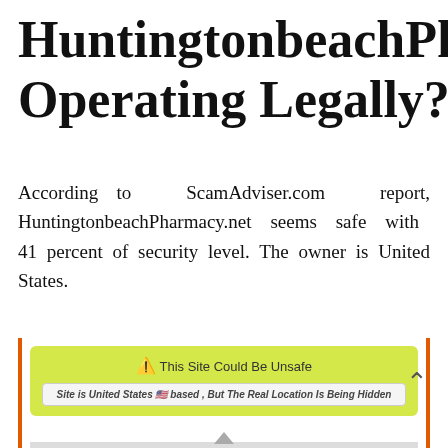HuntingtonbeachPharma Operating Legally?
According to ScamAdviser.com report, HuntingtonbeachPharmacy.net seems safe with 41 percent of security level. The owner is United States.
[Figure (screenshot): ScamAdviser.com screenshot showing a yellow-green warning panel saying 'This Site Could Be Unsafe' with a warning triangle icon, and a location bar stating 'Site is United States based, But The Real Location Is Being Hidden'. The screenshot is framed with orange vertical borders.]